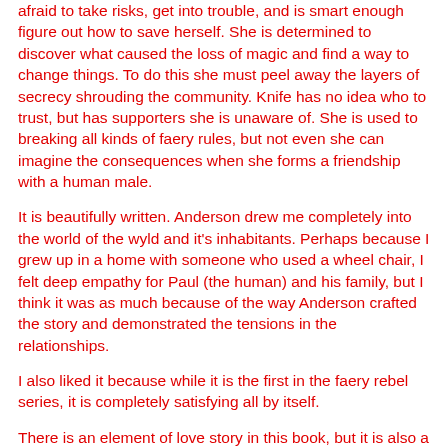afraid to take risks, get into trouble, and is smart enough figure out how to save herself. She is determined to discover what caused the loss of magic and find a way to change things. To do this she must peel away the layers of secrecy shrouding the community. Knife has no idea who to trust, but has supporters she is unaware of. She is used to breaking all kinds of faery rules, but not even she can imagine the consequences when she forms a friendship with a human male.
It is beautifully written. Anderson drew me completely into the world of the wyld and it's inhabitants. Perhaps because I grew up in a home with someone who used a wheel chair, I felt deep empathy for Paul (the human) and his family, but I think it was as much because of the way Anderson crafted the story and demonstrated the tensions in the relationships.
I also liked it because while it is the first in the faery rebel series, it is completely satisfying all by itself.
There is an element of love story in this book, but it is also a book full of adventure, suspense and mystery. I don't know